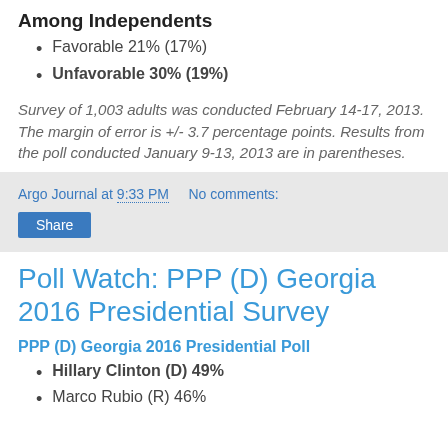Among Independents
Favorable 21% (17%)
Unfavorable 30% (19%)
Survey of 1,003 adults was conducted February 14-17, 2013. The margin of error is +/- 3.7 percentage points. Results from the poll conducted January 9-13, 2013 are in parentheses.
Argo Journal at 9:33 PM   No comments:
Poll Watch: PPP (D) Georgia 2016 Presidential Survey
PPP (D) Georgia 2016 Presidential Poll
Hillary Clinton (D) 49%
Marco Rubio (R) 46%